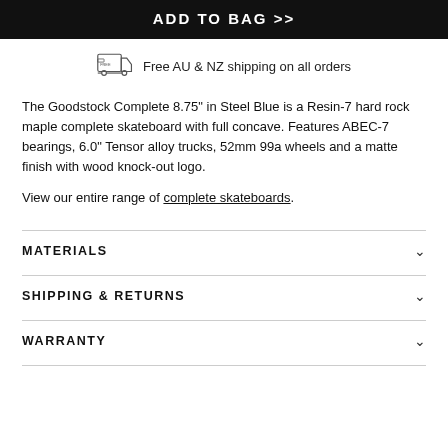ADD TO BAG >>
Free AU & NZ shipping on all orders
The Goodstock Complete 8.75" in Steel Blue is a Resin-7 hard rock maple complete skateboard with full concave. Features ABEC-7 bearings, 6.0" Tensor alloy trucks, 52mm 99a wheels and a matte finish with wood knock-out logo.

View our entire range of complete skateboards.
MATERIALS
SHIPPING & RETURNS
WARRANTY